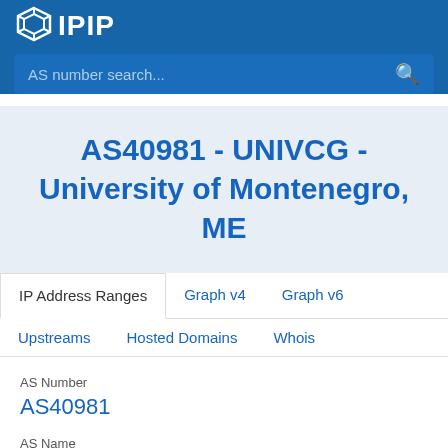[Figure (logo): IPIP logo with diamond icon and text IPIP in white on blue header bar]
AS number search...
AS40981 - UNIVCG - University of Montenegro, ME
IP Address Ranges	Graph v4	Graph v6
Upstreams	Hosted Domains	Whois
AS Number
AS40981
AS Name